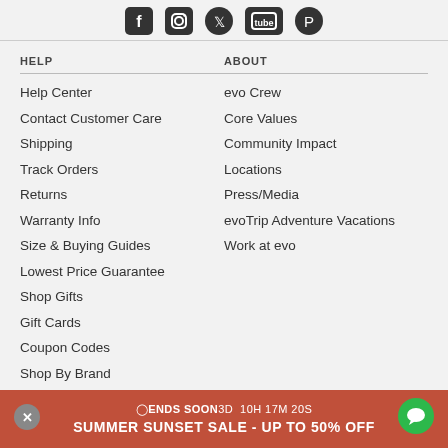[Figure (other): Social media icons row: Facebook, Instagram, Twitter, YouTube, Pinterest]
HELP
Help Center
Contact Customer Care
Shipping
Track Orders
Returns
Warranty Info
Size & Buying Guides
Lowest Price Guarantee
Shop Gifts
Gift Cards
Coupon Codes
Shop By Brand
ABOUT
evo Crew
Core Values
Community Impact
Locations
Press/Media
evoTrip Adventure Vacations
Work at evo
ENDS SOON 3D  10H 17M 20S
SUMMER SUNSET SALE - UP TO 50% OFF